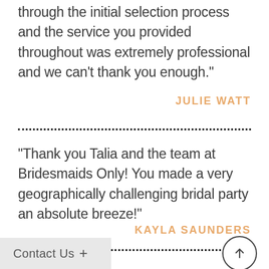through the initial selection process and the service you provided throughout was extremely professional and we can’t thank you enough.”
JULIE WATT
“Thank you Talia and the team at Bridesmaids Only! You made a very geographically challenging bridal party an absolute breeze!”
KAYLA SAUNDERS
Contact Us +